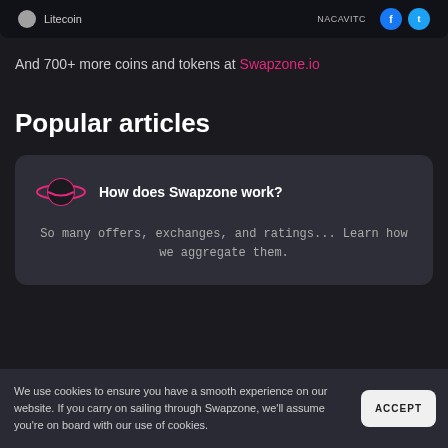[Figure (screenshot): Partial row showing Litecoin with social media icons (Facebook, Twitter) and a tag reading NACAVITC]
And 700+ more coins and tokens at Swapzone.io
Popular articles
[Figure (illustration): Dark card with a pink planet/saturn icon and bold text 'How does Swapzone work?' followed by description text 'So many offers, exchanges, and ratings... Learn how we aggregate them.']
We use cookies to ensure you have a smooth experience on our website. If you carry on sailing through Swapzone, we'll assume you're on board with our use of cookies.